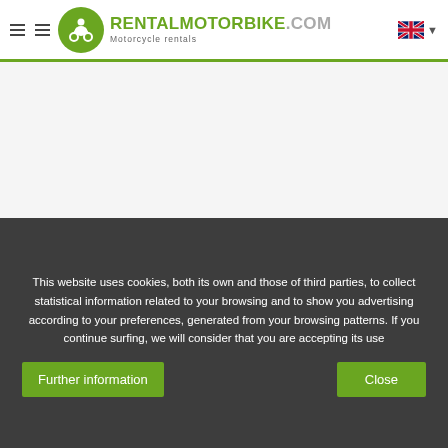RENTALMOTORBIKE.COM — Motorcycle rentals
Motorcycle and scooter rentals in RIVAS
This website uses cookies, both its own and those of third parties, to collect statistical information related to your browsing and to show you advertising according to your preferences, generated from your browsing patterns. If you continue surfing, we will consider that you are accepting its use
Further information | Close